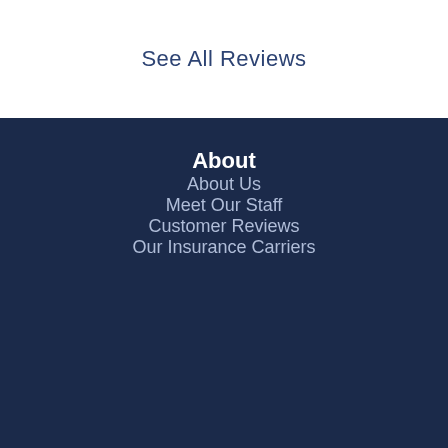See All Reviews
About
About Us
Meet Our Staff
Customer Reviews
Our Insurance Carriers